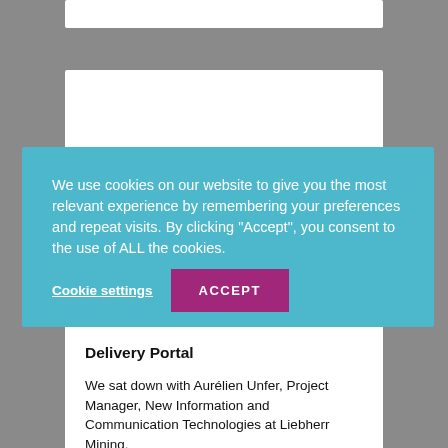We use cookies on our website to give you the most relevant experience by remembering your preferences and repeat visits. By clicking “Accept”, you consent to the use of ALL the cookies.
Cookie settings
ACCEPT
Delivery Portal
We sat down with Aurélien Unfer, Project Manager, New Information and Communication Technologies at Liebherr Mining.